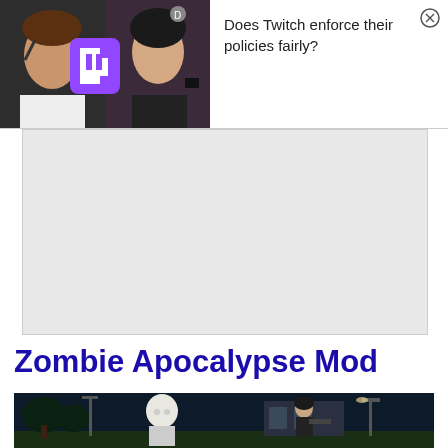[Figure (photo): Two Twitch streamers side by side — a man on the left and a woman on the right with a Twitch logo overlay, suggesting a debate about Twitch policy enforcement]
Does Twitch enforce their policies fairly?
[Figure (other): Gray advertisement placeholder area]
Zombie Apocalypse Mod
[Figure (screenshot): Video game screenshot showing zombie apocalypse mod — dark night scene with a pale zombie-like creature and a female character holding a weapon near a suburban house]